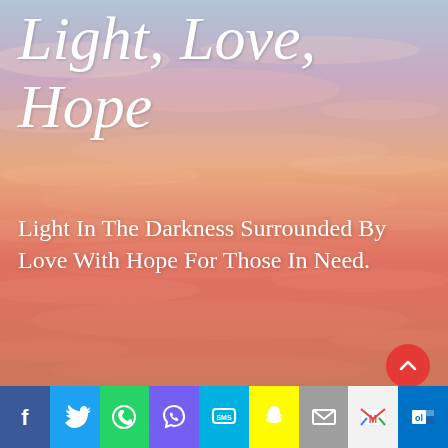[Figure (photo): Sunset/sunrise sky with pink, purple, orange and blue hues and wispy clouds — serves as full-page background]
Light, Love, Hope
Light In The Darkness Surrounded By Love With Hope For Those In Need.
[Figure (infographic): Social sharing bar at the bottom with icons: Facebook (blue), Twitter (light blue), WhatsApp (green), Viber (purple), SMS (cyan), Snapchat (yellow), Email (grey), Gmail (white/red), Outlook (dark blue)]